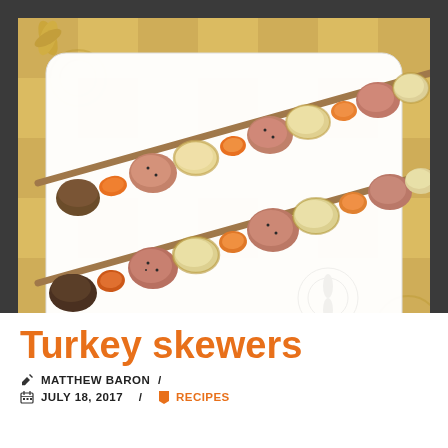[Figure (photo): Two turkey skewers with vegetables (orange bell peppers, potatoes, mushrooms) on a white rectangular plate with decorative pattern background. Watermark reads 'losblogsdemaria'.]
Turkey skewers
✏ MATTHEW BARON /
📅 JULY 18, 2017 / 🔖 RECIPES